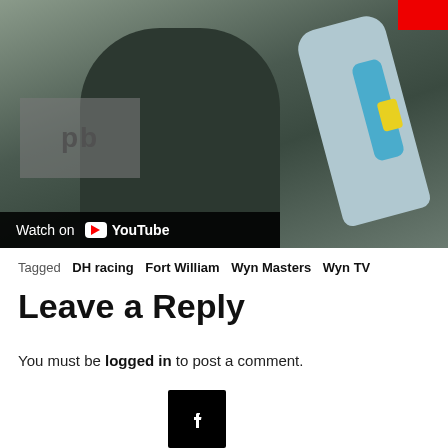[Figure (screenshot): Video thumbnail showing a man in a dark t-shirt holding a water bottle/hydration device, with a 'Watch on YouTube' overlay bar at the bottom left and a pink/red badge at top right. A 'pb' logo is visible in the lower left area of the image.]
Tagged  DH racing  Fort William  Wyn Masters  Wyn TV
Leave a Reply
You must be logged in to post a comment.
[Figure (logo): Facebook logo icon (white 'f' on black square background)]